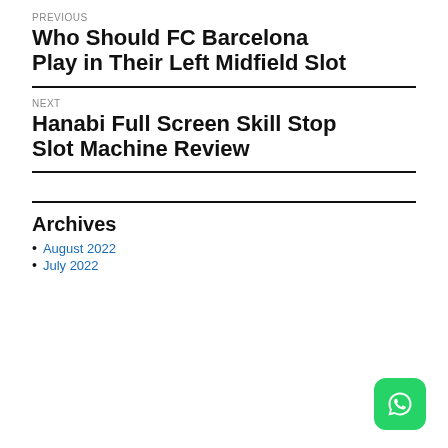PREVIOUS
Who Should FC Barcelona Play in Their Left Midfield Slot
NEXT
Hanabi Full Screen Skill Stop Slot Machine Review
Archives
August 2022
July 2022
[Figure (logo): WhatsApp logo button, green rounded square with white phone/chat icon]